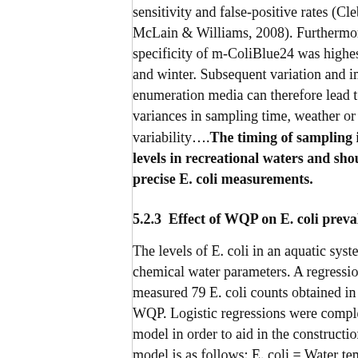sensitivity and false-positive rates (Clebin et al., 1995; McLain & Williams, 2008). Furthermore, McLain and W... specificity of m-ColiBlue24 was highest during the sum and winter. Subsequent variation and inaccuracies in E. enumeration media can therefore lead to unnecessary be variances in sampling time, weather or hydrological fact variability….The timing of sampling is therefore cru levels in recreational waters and should be standardi precise E. coli measurements.
5.2.3  Effect of WQP on E. coli prevalence within the
The levels of E. coli in an aquatic systems are constantly chemical water parameters. A regression model was pro measured 79 E. coli counts obtained in the four test bea WQP. Logistic regressions were completed while simult model in order to aid in the construction of the final reg model is as follows: E. coli = Water temperature + Turbi + Water temperature: DO + Temperature: pH + Turbidity